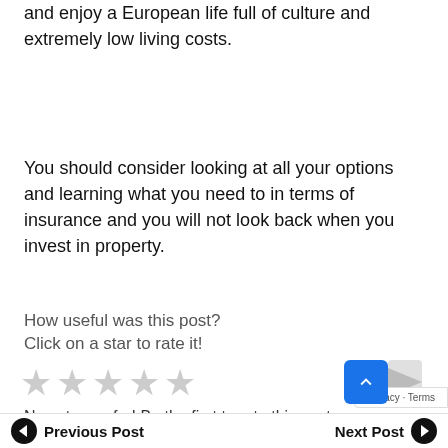and enjoy a European life full of culture and extremely low living costs.
You should consider looking at all your options and learning what you need to in terms of insurance and you will not look back when you invest in property.
How useful was this post?
Click on a star to rate it!
[Figure (other): Five empty grey star rating icons]
No votes so far! Be the first to rate this post.
Previous Post   Next Post